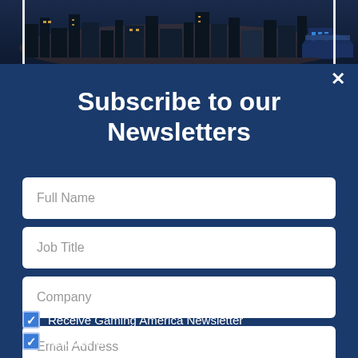[Figure (photo): City skyline at dusk/night with buildings and arena visible]
Subscribe to our Newsletters
Full Name
Job Title
Company
Email Address
Receive Gaming America Newsletter
Receive GI Friday Newsletter